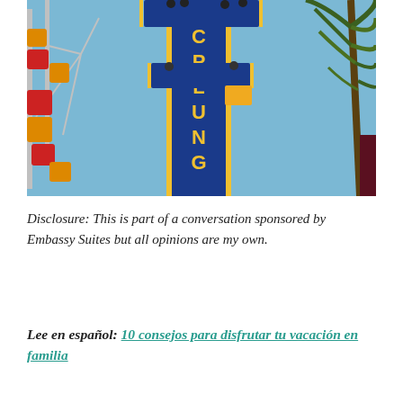[Figure (photo): Upward-angle photo at an amusement park showing a drop tower ride with 'PLUNGE' written vertically in yellow letters on a blue structure, with riders at the top. A Ferris wheel with colorful red and yellow gondolas is visible on the left. Palm tree fronds are visible on the right against a blue sky.]
Disclosure: This is part of a conversation sponsored by Embassy Suites but all opinions are my own.
Lee en español: 10 consejos para disfrutar tu vacación en familia